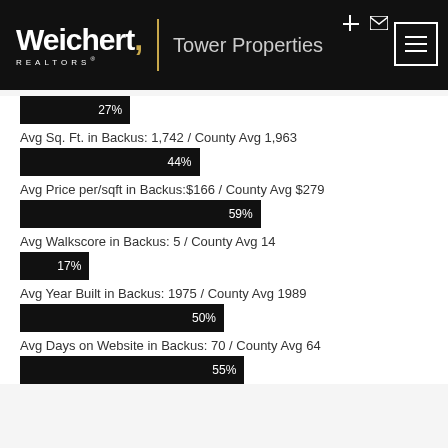[Figure (logo): Weichert Realtors Tower Properties logo with navigation icons and hamburger menu]
[Figure (bar-chart): Avg Sq. Ft. in Backus: 1,742 / County Avg 1,963]
Avg Sq. Ft. in Backus: 1,742 / County Avg 1,963
[Figure (bar-chart): Avg Price per/sqft in Backus: $166 / County Avg $279]
Avg Price per/sqft in Backus:$166 / County Avg $279
[Figure (bar-chart): Avg Walkscore in Backus: 5 / County Avg 14]
Avg Walkscore in Backus: 5 / County Avg 14
[Figure (bar-chart): Avg Year Built in Backus: 1975 / County Avg 1989]
Avg Year Built in Backus: 1975 / County Avg 1989
[Figure (bar-chart): Avg Days on Website in Backus: 70 / County Avg 64]
Avg Days on Website in Backus: 70 / County Avg 64
[Figure (bar-chart): ]